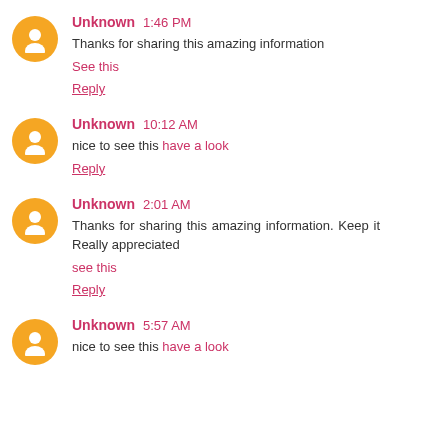Unknown 1:46 PM
Thanks for sharing this amazing information
See this
Reply
Unknown 10:12 AM
nice to see this have a look
Reply
Unknown 2:01 AM
Thanks for sharing this amazing information. Keep it Really appreciated
see this
Reply
Unknown 5:57 AM
nice to see this have a look